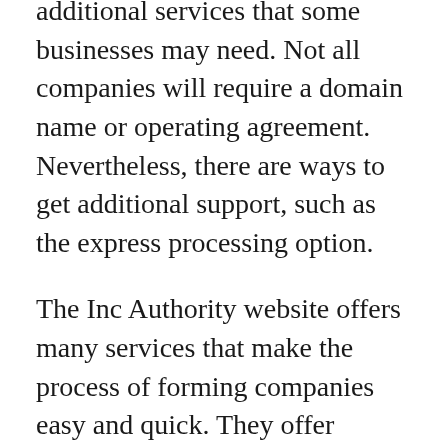additional services that some businesses may need. Not all companies will require a domain name or operating agreement. Nevertheless, there are ways to get additional support, such as the express processing option.
The Inc Authority website offers many services that make the process of forming companies easy and quick. They offer customer support and business information. All documents that are vital to a business's legal status will be delivered and stored for free. You will have to remit taxes to the government and have an Employer Identification Number (EIN).
In addition, It offers advice on...